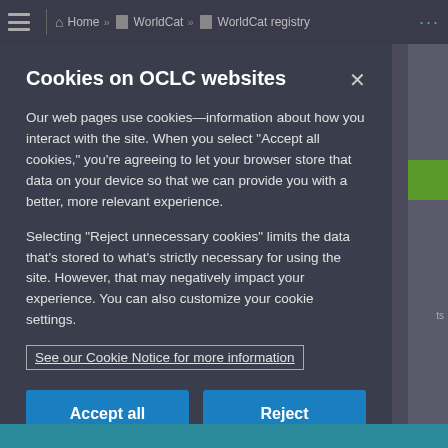Home » WorldCat » WorldCat registry ...
Cookies on OCLC websites
Our web pages use cookies—information about how you interact with the site. When you select "Accept all cookies," you're agreeing to let your browser store that data on your device so that we can provide you with a better, more relevant experience.
Selecting "Reject unnecessary cookies" limits the data that's stored to what's strictly necessary for using the site. However, that may negatively impact your experience. You can also customize your cookie settings.
See our Cookie Notice for more information
Accept all cookies
Reject unnecessary cookies
Customize cookie settings